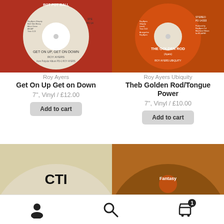[Figure (photo): Vinyl 7-inch record label: Get On Up Get On Down by Roy Ayers, white label on red/orange record]
[Figure (photo): Vinyl 7-inch record label: The Golden Rod by Roy Ayers Ubiquity, orange label, Polydor, STEREO PD 14333]
Roy Ayers
Get On Up Get on Down
7", Vinyl / £12.00
Add to cart
Roy Ayers Ubiquity
Theb Golden Rod/Tongue Power
7", Vinyl / £10.00
Add to cart
[Figure (photo): Vinyl record with CTI label, black and white]
[Figure (photo): Vinyl record with Fantasy label, brown/orange]
[Figure (infographic): Bottom navigation bar with user icon, search icon, and cart icon with badge showing 1]